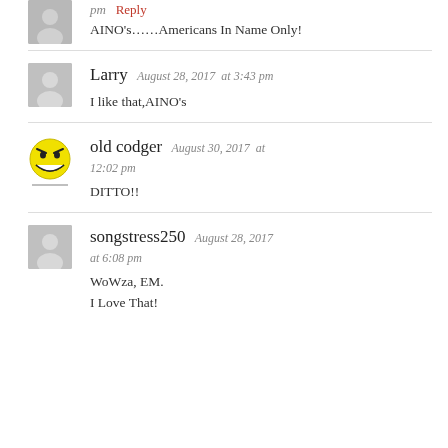pm  Reply
AINO's……Americans In Name Only!
Larry  August 28, 2017  at 3:43 pm
I like that,AINO's
[Figure (illustration): Yellow smiley face with evil eyebrows and wide grin, used as profile avatar for 'old codger']
old codger  August 30, 2017  at 12:02 pm
DITTO!!
songstress250  August 28, 2017  at 6:08 pm
WoWza, EM.
I Love That!